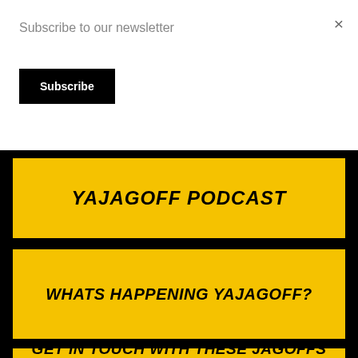Subscribe to our newsletter
×
Subscribe
YAJAGOFF PODCAST
WHATS HAPPENING YAJAGOFF?
GET IN TOUCH WITH THESE JAGOFFS